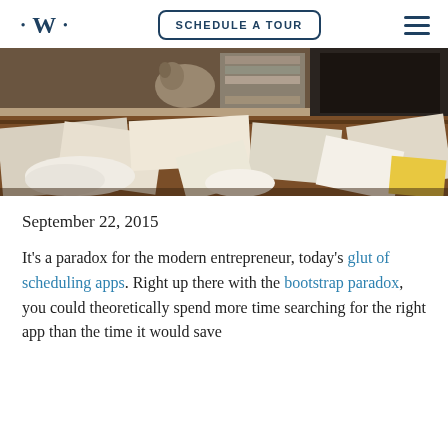•W• | SCHEDULE A TOUR | ≡
[Figure (photo): A messy desk covered with scattered papers, documents, binders and office clutter, photographed in color]
September 22, 2015
It's a paradox for the modern entrepreneur, today's glut of scheduling apps. Right up there with the bootstrap paradox, you could theoretically spend more time searching for the right app than the time it would save